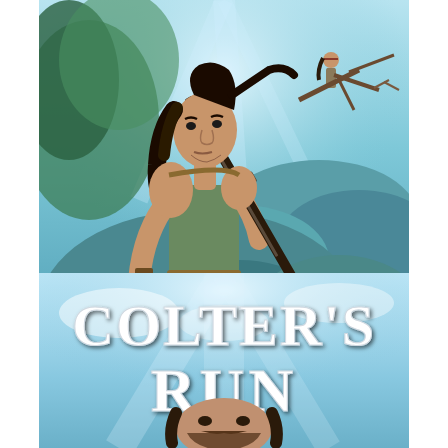[Figure (illustration): Book cover illustration showing a muscular frontiersman with long dark hair holding a rifle, crouching on rocky terrain with teal-blue wilderness background. A Native American figure sits in a tree in the background. Text at bottom reads 'Greg Strandberg' in white serif font.]
[Figure (illustration): Second book cover showing the title 'Colter's Run' in large white stylized serif font at the top, with a bearded man's face visible at the bottom against a bright blue sky background.]